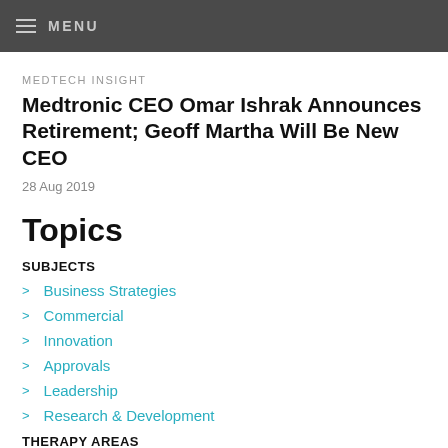MENU
MEDTECH INSIGHT
Medtronic CEO Omar Ishrak Announces Retirement; Geoff Martha Will Be New CEO
28 Aug 2019
Topics
SUBJECTS
Business Strategies
Commercial
Innovation
Approvals
Leadership
Research & Development
THERAPY AREAS
Cardiovascular